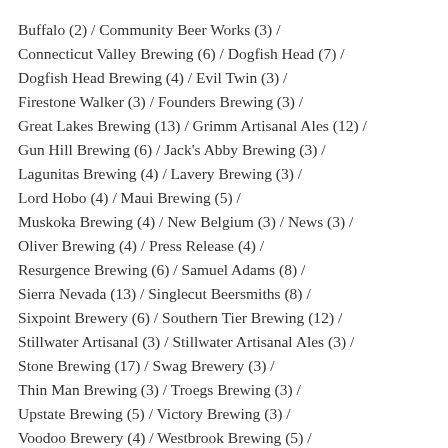Buffalo (2) / Community Beer Works (3) / Connecticut Valley Brewing (6) / Dogfish Head (7) / Dogfish Head Brewing (4) / Evil Twin (3) / Firestone Walker (3) / Founders Brewing (3) / Great Lakes Brewing (13) / Grimm Artisanal Ales (12) / Gun Hill Brewing (6) / Jack's Abby Brewing (3) / Lagunitas Brewing (4) / Lavery Brewing (3) / Lord Hobo (4) / Maui Brewing (5) / Muskoka Brewing (4) / New Belgium (3) / News (3) / Oliver Brewing (4) / Press Release (4) / Resurgence Brewing (6) / Samuel Adams (8) / Sierra Nevada (13) / Singlecut Beersmiths (8) / Sixpoint Brewery (6) / Southern Tier Brewing (12) / Stillwater Artisanal (3) / Stillwater Artisanal Ales (3) / Stone Brewing (17) / Swag Brewery (3) / Thin Man Brewing (3) / Troegs Brewing (3) / Upstate Brewing (5) / Victory Brewing (3) / Voodoo Brewery (4) / Westbrook Brewing (5) / Weyerbacher Brewing (3) / Woodcock Brothers (6) /